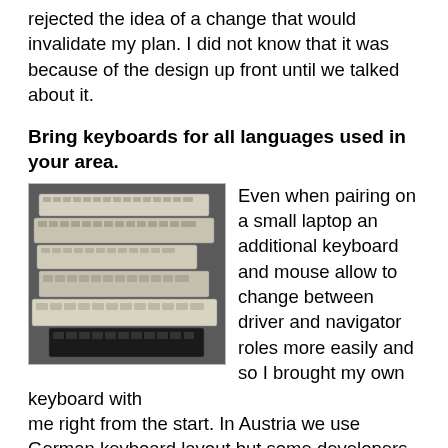rejected the idea of a change that would invalidate my plan. I did not know that it was because of the design up front until we talked about it.
Bring keyboards for all languages used in your area.
[Figure (photo): A pile of multiple keyboards stacked on top of each other, mostly beige/white colored keyboards from various eras.]
Even when pairing on a small laptop an additional keyboard and mouse allow to change between driver and navigator roles more easily and so I brought my own keyboard with me right from the start. In Austria we use German keyboard layout but some developers use English laptops or just like to use English keyboards. Raphael used an English keyboard and showed me where to switch layouts, so I would be able to work with my German keyboard as well. Switching keyboard language took time and we forgot about it often resulting in both of us typing wrong keys. I knew the English layout and we decided to stay with it. Then I was struggling to find the proper keys for special characters like